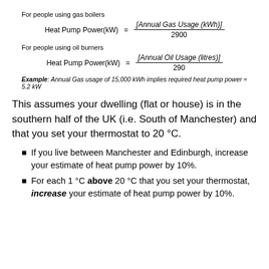For people using gas boilers
For people using oil burners
Example: Annual Gas usage of 15,000 kWh implies required heat pump power ≈ 5.2 kW
This assumes your dwelling (flat or house) is in the southern half of the UK (i.e. South of Manchester) and that you set your thermostat to 20 °C.
If you live between Manchester and Edinburgh, increase your estimate of heat pump power by 10%.
For each 1 °C above 20 °C that you set your thermostat, increase your estimate of heat pump power by 10%.